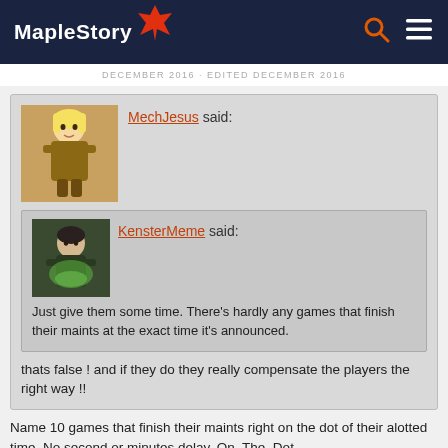MapleStory
DECEMBER 2016 · EDITED DECEMBER 2016
MechJesus said:
KensterMeme said:
Just give them some time. There's hardly any games that finish their maints at the exact time it's announced.
thats false ! and if they do they really compensate the players the right way !!
Name 10 games that finish their maints right on the dot of their alotted time. No second or minutes delay. On. The. Dot.
As for the compensation, most give some time of latent currency,